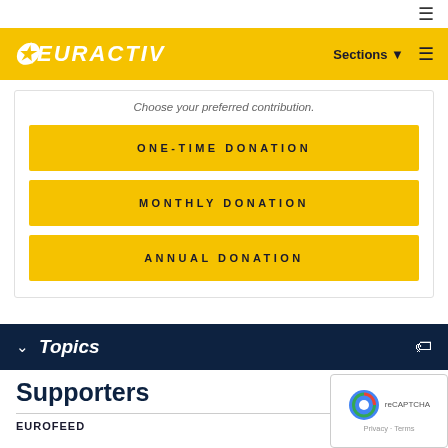EURACTIV
Choose your preferred contribution.
ONE-TIME DONATION
MONTHLY DONATION
ANNUAL DONATION
Topics
Supporters
EUROFEED